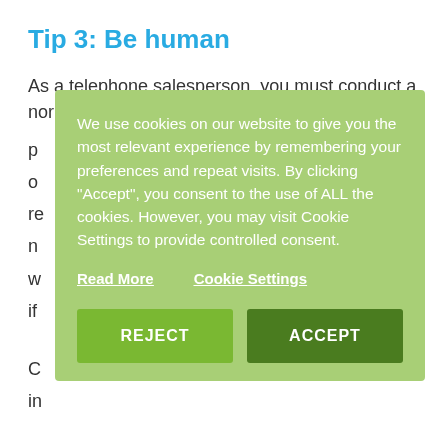Tip 3: Be human
As a telephone salesperson, you must conduct a normal sales conversation with your customer or p... o... re... a n... w... if...
[Figure (screenshot): Cookie consent overlay popup with green background. Contains text: 'We use cookies on our website to give you the most relevant experience by remembering your preferences and repeat visits. By clicking "Accept", you consent to the use of ALL the cookies. However, you may visit Cookie Settings to provide controlled consent.' Links: 'Read More' and 'Cookie Settings'. Buttons: 'REJECT' (light green) and 'ACCEPT' (dark green).]
C... in... e... n a... just number 23 who is called that day)